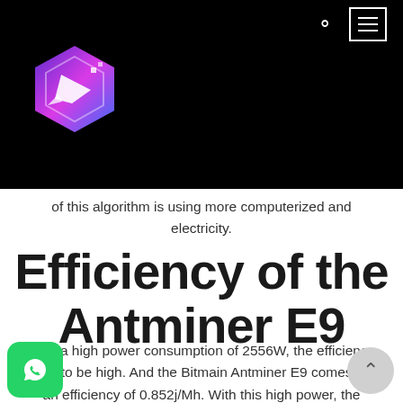[Navigation bar with logo, search icon, and menu icon on black background]
of this algorithm is using more computerized and electricity.
Efficiency of the Antminer E9
With a high power consumption of 2556W, the efficiency ought to be high. And the Bitmain Antminer E9 comes with an efficiency of 0.852j/Mh. With this high power, the platform needs more fans.